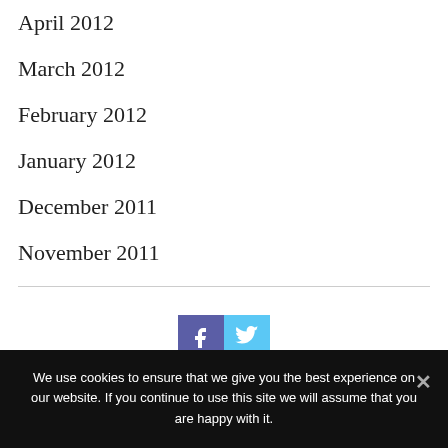April 2012
March 2012
February 2012
January 2012
December 2011
November 2011
[Figure (other): Facebook and Twitter social media buttons]
We use cookies to ensure that we give you the best experience on our website. If you continue to use this site we will assume that you are happy with it.